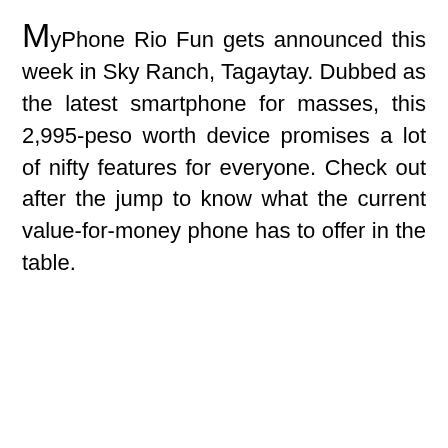MyPhone Rio Fun gets announced this week in Sky Ranch, Tagaytay. Dubbed as the latest smartphone for masses, this 2,995-peso worth device promises a lot of nifty features for everyone. Check out after the jump to know what the current value-for-money phone has to offer in the table.